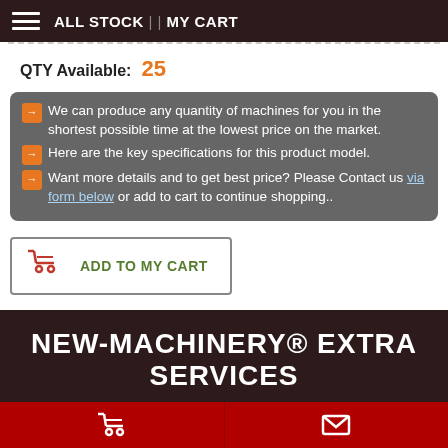ALL STOCK || MY CART
QTY Available: 25
→ We can produce any quantity of machines for you in the shortest possible time at the lowest price on the market. → Here are the key specifications for this product model. → Want more details and to get best price? Please Contact us via form below or add to cart to continue shopping..
ADD TO MY CART
Copy page link
NEW-MACHINERY® EXTRA SERVICES